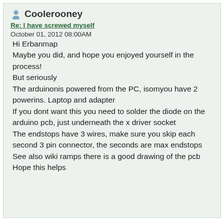Coolerooney
Re: I have screwed myself
October 01, 2012 08:00AM
Hi Erbanmap
Maybe you did, and hope you enjoyed yourself in the process!
But seriously
The arduinonis powered from the PC, isomyou have 2 powerins. Laptop and adapter
If you dont want this you need to solder the diode on the arduino pcb, just underneath the x driver socket
The endstops have 3 wires, make sure you skip each second 3 pin connector, the seconds are max endstops
See also wiki ramps there is a good drawing of the pcb
Hope this helps